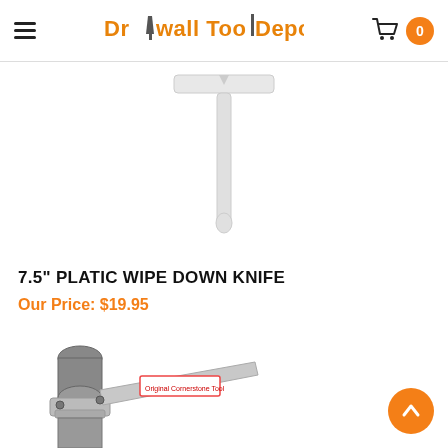Drywall Tool Depot
[Figure (photo): A white plastic 7.5-inch wipe down knife tool shaped like a T or squeegee, photographed on white background]
7.5" PLATIC WIPE DOWN KNIFE
Our Price: $19.95
[Figure (photo): Close-up photo of a metal drywall tool handle/pole connection mechanism with a wide flat metal blade attached, labeled 'Original Cornerstone Tool']